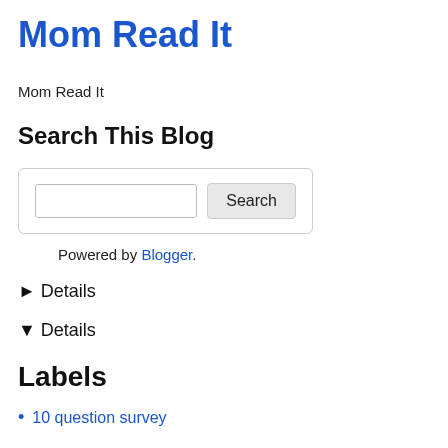Mom Read It
Mom Read It
Search This Blog
[Figure (screenshot): Search box widget with a text input field and a Search button, inside a rounded border box]
Powered by Blogger.
▶ Details
▼ Details
Labels
10 question survey